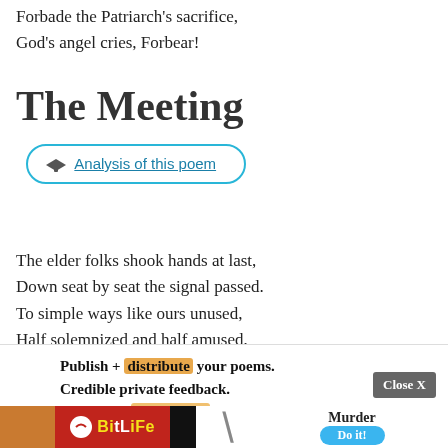Forbade the Patriarch's sacrifice,
God's angel cries, Forbear!
The Meeting
🎓 Analysis of this poem
The elder folks shook hands at last,
Down seat by seat the signal passed.
To simple ways like ours unused,
Half solemnized and half amused,
Publish + distribute your poems.
Credible private feedback.
Respectful community of all levels.
Premium content and more.
[Figure (screenshot): BitLife advertisement banner with 'Murder - Do it!' text and Close X button]